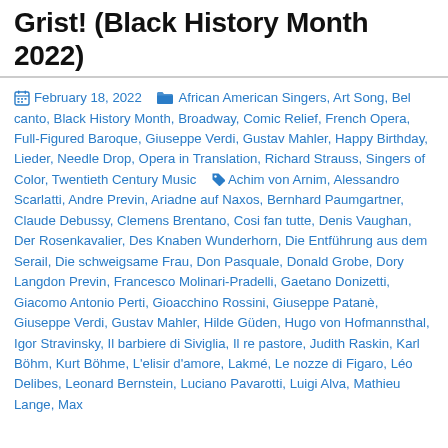Grist! (Black History Month 2022)
February 18, 2022  African American Singers, Art Song, Bel canto, Black History Month, Broadway, Comic Relief, French Opera, Full-Figured Baroque, Giuseppe Verdi, Gustav Mahler, Happy Birthday, Lieder, Needle Drop, Opera in Translation, Richard Strauss, Singers of Color, Twentieth Century Music  Achim von Arnim, Alessandro Scarlatti, Andre Previn, Ariadne auf Naxos, Bernhard Paumgartner, Claude Debussy, Clemens Brentano, Cosi fan tutte, Denis Vaughan, Der Rosenkavalier, Des Knaben Wunderhorn, Die Entführung aus dem Serail, Die schweigsame Frau, Don Pasquale, Donald Grobe, Dory Langdon Previn, Francesco Molinari-Pradelli, Gaetano Donizetti, Giacomo Antonio Perti, Gioacchino Rossini, Giuseppe Patanè, Giuseppe Verdi, Gustav Mahler, Hilde Güden, Hugo von Hofmannsthal, Igor Stravinsky, Il barbiere di Siviglia, Il re pastore, Judith Raskin, Karl Böhm, Kurt Böhme, L'elisir d'amore, Lakmé, Le nozze di Figaro, Léo Delibes, Leonard Bernstein, Luciano Pavarotti, Luigi Alva, Mathieu Lange, Max